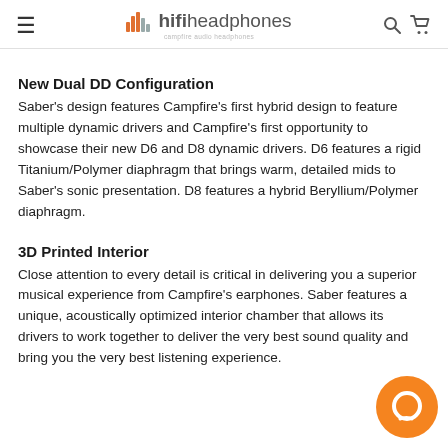hifiheadphones
New Dual DD Configuration
Saber's design features Campfire's first hybrid design to feature multiple dynamic drivers and Campfire's first opportunity to showcase their new D6 and D8 dynamic drivers. D6 features a rigid Titanium/Polymer diaphragm that brings warm, detailed mids to Saber's sonic presentation. D8 features a hybrid Beryllium/Polymer diaphragm.
3D Printed Interior
Close attention to every detail is critical in delivering you a superior musical experience from Campfire's earphones. Saber features a unique, acoustically optimized interior chamber that allows its drivers to work together to deliver the very best sound quality and bring you the very best listening experience.